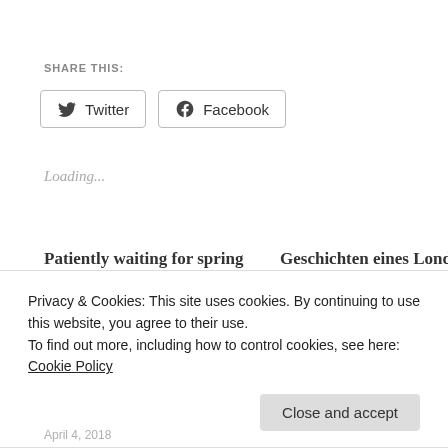SHARE THIS:
[Figure (other): Social share buttons: Twitter and Facebook]
Loading...
Patiently waiting for spring – Holly blouse, Tulip skirt and Luzerne coat
April 4, 2017
Geschichten eines Londres Trench Coats – Tales of a Londres Trench Coat
October 3, 2017
Privacy & Cookies: This site uses cookies. By continuing to use this website, you agree to their use.
To find out more, including how to control cookies, see here: Cookie Policy
Close and accept
April 4, 2018